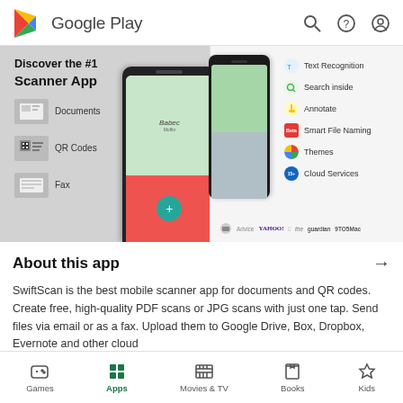Google Play
[Figure (screenshot): Google Play Store screenshot showing SwiftScan app listing with two panels: left panel shows 'Discover the #1 Scanner App' with Documents, QR Codes, and Fax features; right panel shows features including Text Recognition, Search inside, Annotate, Smart File Naming, Themes, Cloud Services, and press logos including Advice, Yahoo!, guardian, 9to5Mac]
About this app
SwiftScan is the best mobile scanner app for documents and QR codes. Create free, high-quality PDF scans or JPG scans with just one tap. Send files via email or as a fax. Upload them to Google Drive, Box, Dropbox, Evernote and other cloud
Games  Apps  Movies & TV  Books  Kids